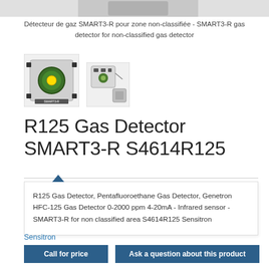[Figure (photo): Top cropped photo of SMART3-R gas detector product]
Détecteur de gaz SMART3-R pour zone non-classifiée - SMART3-R gas detector for non-classified gas detector
[Figure (photo): Two product images: main SMART3-R gas detector unit (front view) and smaller accessory/component view]
R125 Gas Detector SMART3-R S4614R125
R125 Gas Detector, Pentafluoroethane Gas Detector, Genetron HFC-125 Gas Detector 0-2000 ppm 4-20mA - Infrared sensor - SMART3-R for non classified area S4614R125 Sensitron
Sensitron
Call for price
Ask a question about this product